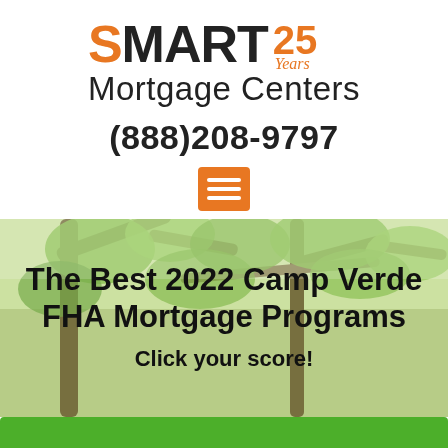[Figure (logo): SMART 25 Years Mortgage Centers logo with orange S and orange 25 Years text]
(888)208-9797
[Figure (other): Orange hamburger menu icon with three white horizontal lines]
[Figure (photo): Background photo of tree branches with green leaves viewed from below, with semi-transparent overlay]
The Best 2022 Camp Verde FHA Mortgage Programs
Click your score!
[Figure (other): Green button partially visible at bottom]